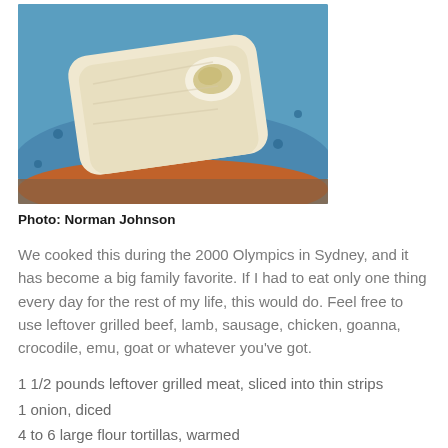[Figure (photo): A flour tortilla wrap filled with chicken/meat salad on a blue and orange plate, photographed on a brown wooden surface.]
Photo: Norman Johnson
We cooked this during the 2000 Olympics in Sydney, and it has become a big family favorite. If I had to eat only one thing every day for the rest of my life, this would do. Feel free to use leftover grilled beef, lamb, sausage, chicken, goanna, crocodile, emu, goat or whatever you've got.
1 1/2 pounds leftover grilled meat, sliced into thin strips
1 onion, diced
4 to 6 large flour tortillas, warmed
1 cup hummus
1 cup shredded Jack cheese
1 avocado, peeled, pitted and sliced